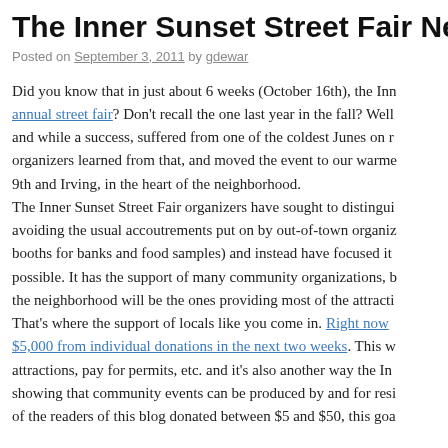The Inner Sunset Street Fair Needs YOUR
Posted on September 3, 2011 by gdewar
Did you know that in just about 6 weeks (October 16th), the Inn annual street fair? Don't recall the one last year in the fall? Well and while a success, suffered from one of the coldest Junes on r organizers learned from that, and moved the event to our warme 9th and Irving, in the heart of the neighborhood.
The Inner Sunset Street Fair organizers have sought to distingu avoiding the usual accoutrements put on by out-of-town organiz booths for banks and food samples) and instead have focused it possible. It has the support of many community organizations, b the neighborhood will be the ones providing most of the attracti That's where the support of locals like you come in. Right now $5,000 from individual donations in the next two weeks. This w attractions, pay for permits, etc. and it's also another way the In showing that community events can be produced by and for resi of the readers of this blog donated between $5 and $50, this goa